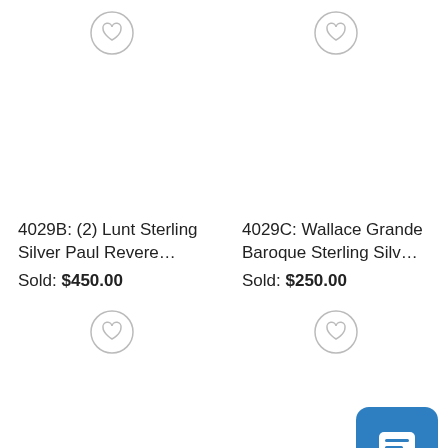[Figure (screenshot): Product listing card for 4029B: (2) Lunt Sterling Silver Paul Revere... with heart/wishlist icon]
4029B: (2) Lunt Sterling Silver Paul Revere…
Sold: $450.00
[Figure (screenshot): Product listing card for 4029C: Wallace Grande Baroque Sterling Silv... with heart/wishlist icon]
4029C: Wallace Grande Baroque Sterling Silv…
Sold: $250.00
[Figure (screenshot): Bottom row product cards with heart/wishlist icons and chat button overlay]